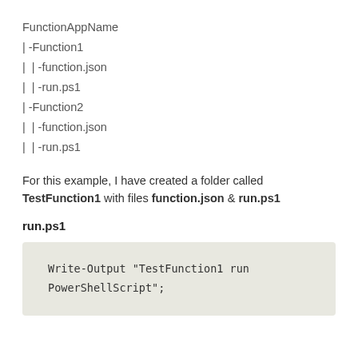FunctionAppName
| -Function1
| | -function.json
| | -run.ps1
| -Function2
| | -function.json
| | -run.ps1
For this example, I have created a folder called TestFunction1 with files function.json & run.ps1
run.ps1
Write-Output "TestFunction1 run PowerShellScript";